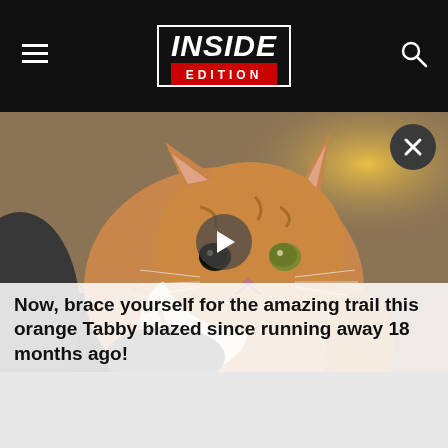INSIDE EDITION
[Figure (screenshot): Video thumbnail showing an orange tabby cat being held by a person, with a play button overlay and a close (X) button in the top right corner. The background shows a warm-lit indoor scene.]
Now, brace yourself for the amazing trail this orange Tabby blazed since running away 18 months ago!